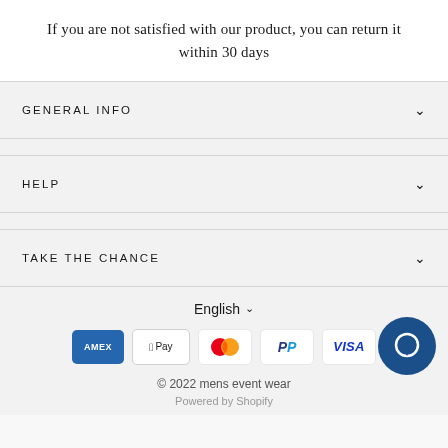If you are not satisfied with our product, you can return it within 30 days
GENERAL INFO
HELP
TAKE THE CHANCE
English
[Figure (other): Payment method icons: American Express, Apple Pay, Mastercard, PayPal, Visa]
© 2022 mens event wear
Powered by Shopify